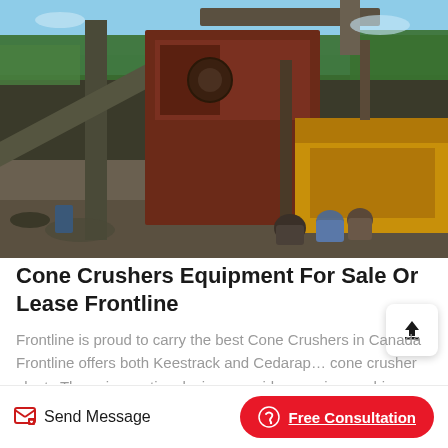[Figure (photo): Mining/quarry site with large cone crusher and conveyor equipment, dark reddish-brown machinery, yellow generator on right, workers sitting on ground in foreground, trees and sky in background]
Cone Crushers Equipment For Sale Or Lease Frontline
Frontline is proud to carry the best Cone Crushers in Canada Frontline offers both Keestrack and Cedarapids cone crusher plants These innovative designs provide superior crushing capabilities with optimal energy efficiency and mobility. Our cone crushers are...